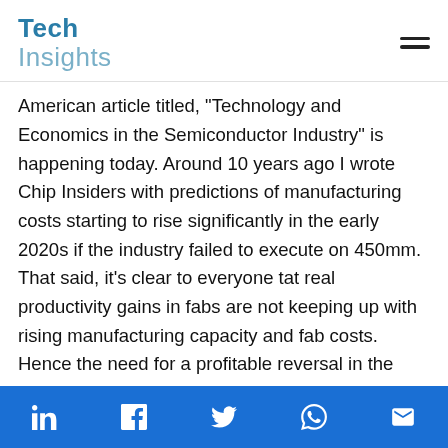Tech Insights
American article titled, "Technology and Economics in the Semiconductor Industry" is happening today. Around 10 years ago I wrote Chip Insiders with predictions of manufacturing costs starting to rise significantly in the early 2020s if the industry failed to execute on 450mm. That said, it's clear to everyone tat real productivity gains in fabs are not keeping up with rising manufacturing capacity and fab costs. Hence the need for a profitable reversal in the roughly 20-year decline in ASPs. This is most apparent in DRAMs, which have faced the storms slowing shrinkonomics the longest, they have been able to systematically raise revenue-per-square-inch of silicon produced. And they have been profitable while doing it.
LinkedIn, Facebook, Twitter, WhatsApp, Email